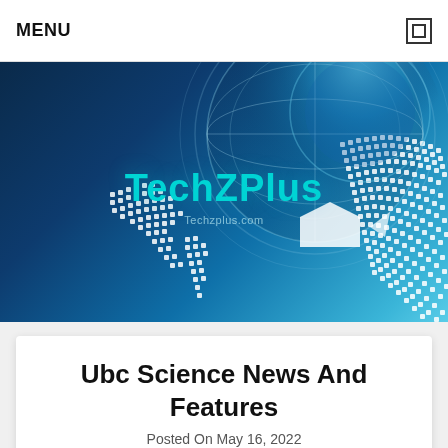MENU
[Figure (illustration): TechZPlus website hero banner with dark blue background, globe graphic made of white dots, and 'TechZPlus' text in teal color overlaid on the globe image. A speech/chat bubble icon appears to the right of the text.]
Ubc Science News And Features
Posted On May 16, 2022